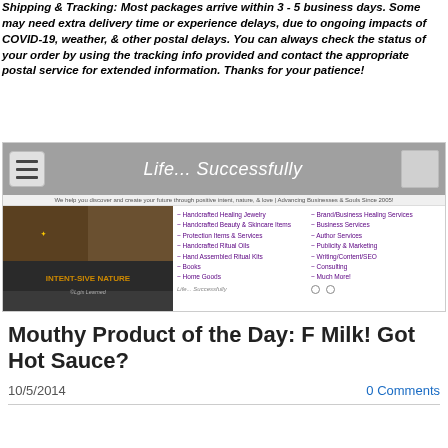Shipping & Tracking: Most packages arrive within 3 - 5 business days. Some may need extra delivery time or experience delays, due to ongoing impacts of COVID-19, weather, & other postal delays. You can always check the status of your order by using the tracking info provided and contact the appropriate postal service for extended information. Thanks for your patience!
[Figure (screenshot): Website screenshot showing 'Life... Successfully' navigation bar with hamburger menu, logo area showing 'Intent-Sive Nature' with images of jewelry/nature products, tagline 'We help you discover and create your future through positive intent, nature, & love | Advancing Businesses & Souls Since 2005!', and menu listing services including Handcrafted Healing Jewelry, Beauty & Skincare Items, Protection Items & Services, Handcrafted Ritual Oils, Hand Assembled Ritual Kits, Books, Home Goods, Brand/Business Healing Services, Business Services, Author Services, Publicity & Marketing, Writing/Content/SEO, Consulting, Much More!]
Mouthy Product of the Day: F Milk! Got Hot Sauce?
10/5/2014
0 Comments